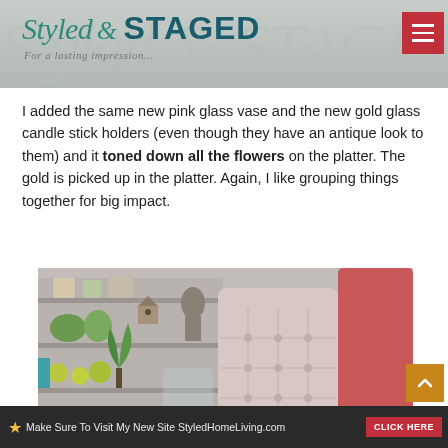Styled & STAGED — For a lasting impression
I added the same new pink glass vase and the new gold glass candle stick holders (even though they have an antique look to them) and it toned down all the flowers on the platter. The gold is picked up in the platter.  Again, I like grouping things together for big impact.
[Figure (photo): Interior shop photo showing a tufted pink/blush chair and store shelving with decorative items including plants and birdhouses in the background]
Make Sure To Visit My New Site StyledHomeLiving.com  CLICK HERE